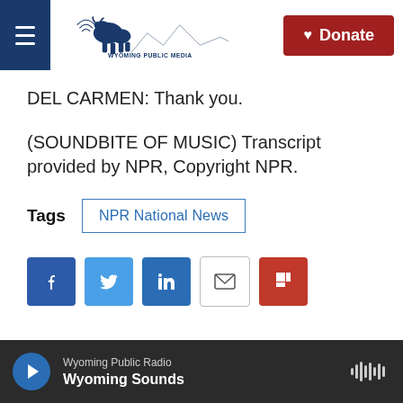[Figure (logo): Wyoming Public Media logo with bison and mountain landscape, hamburger menu button on left, red Donate button on right]
DEL CARMEN: Thank you.
(SOUNDBITE OF MUSIC) Transcript provided by NPR, Copyright NPR.
Tags   NPR National News
[Figure (other): Social share buttons: Facebook, Twitter, LinkedIn, Email, Flipboard]
Wyoming Public Radio — Wyoming Sounds (player bar)